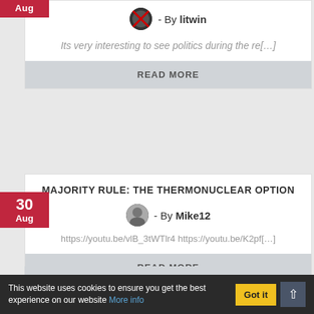Aug
- By litwin
Its very interesting to see politics during the re[…]
READ MORE
MAJORITY RULE: THE THERMONUCLEAR OPTION
30 Aug
- By Mike12
https://youtu.be/vlB_3tWTlr4 https://youtu.be/K2pf[…]
READ MORE
VIEW MORE TOPICS
This website uses cookies to ensure you get the best experience on our website More info